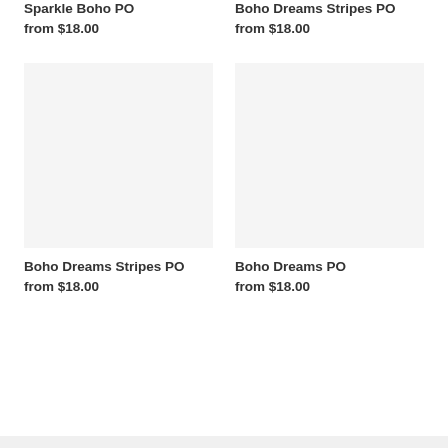Sparkle Boho PO
from $18.00
Boho Dreams Stripes PO
from $18.00
[Figure (photo): Product image placeholder (light gray background) for Boho Dreams Stripes PO]
[Figure (photo): Product image placeholder (light gray background) for Boho Dreams PO]
Boho Dreams Stripes PO
from $18.00
Boho Dreams PO
from $18.00